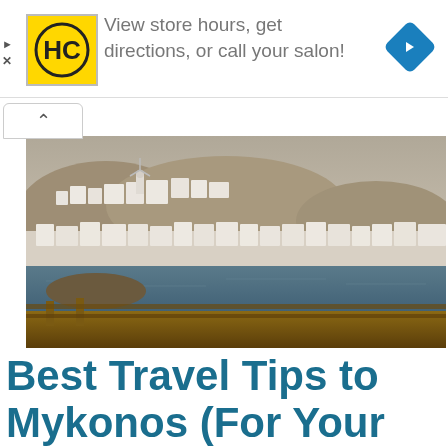[Figure (advertisement): Salon advertisement with HC logo in yellow square, text 'View store hours, get directions, or call your salon!' and blue navigation arrow icon on the right.]
[Figure (photo): Panoramic photo of Mykonos town waterfront showing white-washed buildings on hillside, windmill, and blue water in foreground with wooden dock railing.]
Best Travel Tips to Mykonos (For Your First Trip)